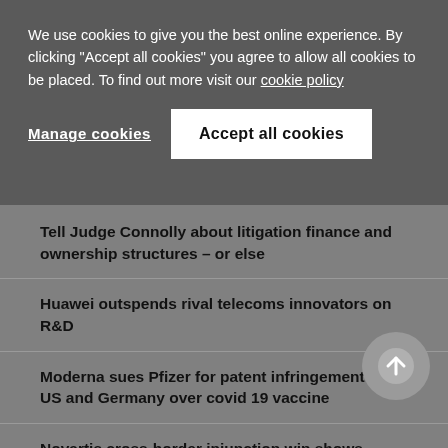We use cookies to give you the best online experience. By clicking "Accept all cookies" you agree to allow all cookies to be placed. To find out more visit our cookie policy
Manage cookies
Accept all cookies
Tell Judge Connolly about litigation finance and ownership structures – or else
Huawei outspends rival telecoms innovators on R&D
Moderna sues Pfizer for patent infringement in the US and Germany over covid 19 vaccine
Novartis cross-border injunction win shows